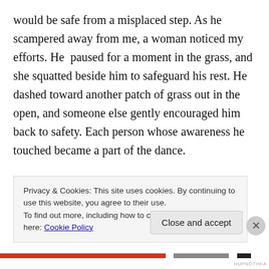would be safe from a misplaced step. As he scampered away from me, a woman noticed my efforts. He  paused for a moment in the grass, and she squatted beside him to safeguard his rest. He dashed toward another patch of grass out in the open, and someone else gently encouraged him back to safety. Each person whose awareness he touched became a part of the dance.
We're not fools. None of us believed for a moment that he would even survive the day. He was too injured, too inexperienced to even be afraid of people, and his natural
Privacy & Cookies: This site uses cookies. By continuing to use this website, you agree to their use.
To find out more, including how to control cookies, see here: Cookie Policy
Close and accept